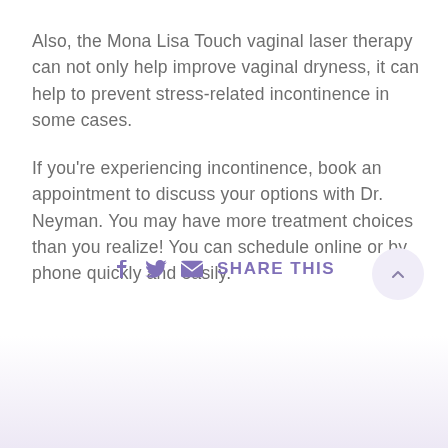Also, the Mona Lisa Touch vaginal laser therapy can not only help improve vaginal dryness, it can help to prevent stress-related incontinence in some cases.
If you're experiencing incontinence, book an appointment to discuss your options with Dr. Neyman. You may have more treatment choices than you realize! You can schedule online or by phone quickly and easily.
SHARE THIS